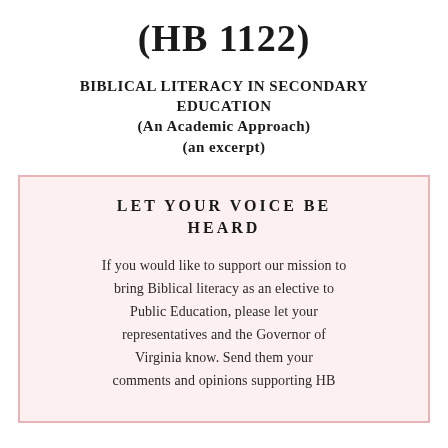(HB 1122)
BIBLICAL LITERACY IN SECONDARY EDUCATION
(An Academic Approach)
(an excerpt)
LET YOUR VOICE BE HEARD
If you would like to support our mission to bring Biblical literacy as an elective to Public Education, please let your representatives and the Governor of Virginia know. Send them your comments and opinions supporting HB